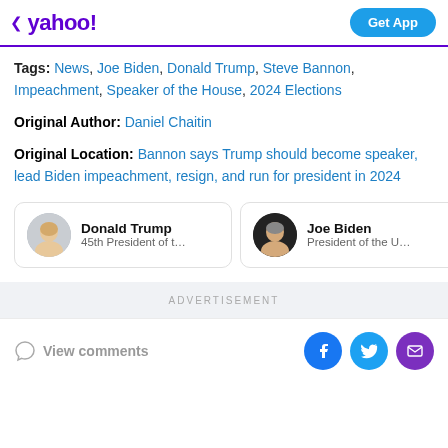yahoo! Get App
Tags: News, Joe Biden, Donald Trump, Steve Bannon, Impeachment, Speaker of the House, 2024 Elections
Original Author: Daniel Chaitin
Original Location: Bannon says Trump should become speaker, lead Biden impeachment, resign, and run for president in 2024
Donald Trump 45th President of th...
Joe Biden President of the Uni...
ADVERTISEMENT
View comments